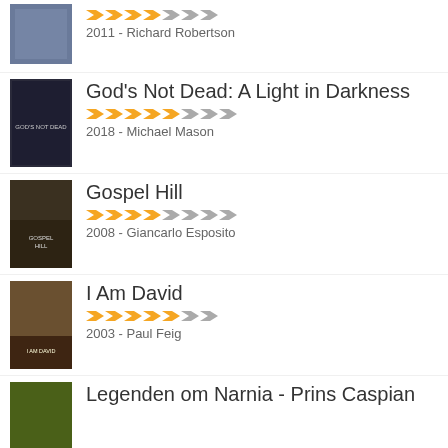2011 - Richard Robertson
God's Not Dead: A Light in Darkness
2018 - Michael Mason
Gospel Hill
2008 - Giancarlo Esposito
I Am David
2003 - Paul Feig
Legenden om Narnia - Prins Caspian